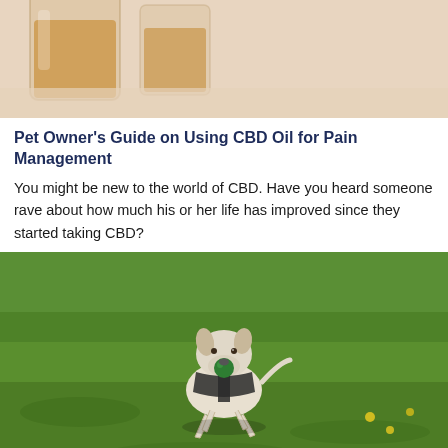[Figure (photo): A glass of amber-colored CBD oil on a light background, partially cropped at top of page.]
Pet Owner's Guide on Using CBD Oil for Pain Management
You might be new to the world of CBD. Have you heard someone rave about how much his or her life has improved since they started taking CBD?
[Figure (photo): A small white dog wearing a black harness and carrying a green ball, running across a green grassy field.]